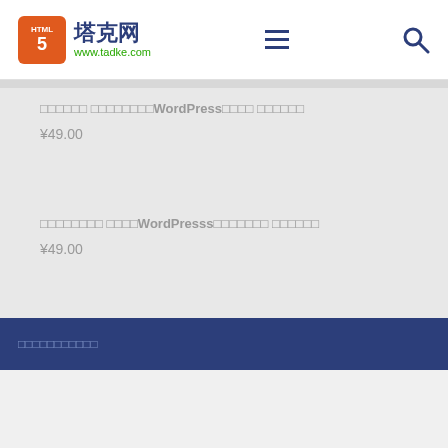塔克网 www.tadke.com
□□□□□□ □□□□□□□□WordPressI□□□ □□□□□□
¥49.00
□□□□□□□□ □□□□WordPresss□□□□□□□ □□□□□□
¥49.00
□□□□□□□□□□□□ □□lead□□□□WordPress□□
¥49.00
□□□□□□□□□□□